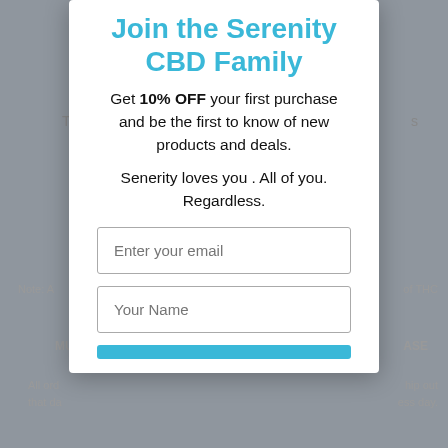Join the Serenity CBD Family
Get 10% OFF your first purchase and be the first to know of new products and deals.
Senerity loves you . All of you. Regardless.
Enter your email
Your Name